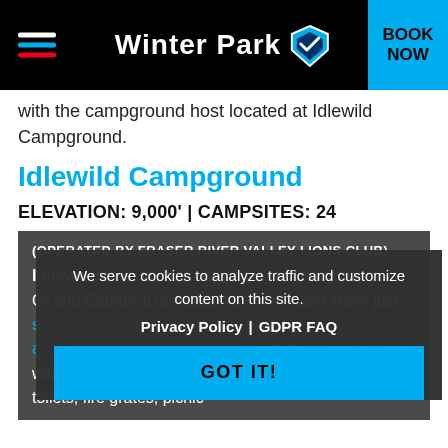Winter Park — BOOK NOW
with the campground host located at Idlewild Campground.
Idlewild Campground
ELEVATION: 9,000' | CAMPSITES: 24
(OPERATED BY FRASER RIVER VALLEY LIONS CLUB) Idlewild is one of the most popular campgrounds in Grand County, it is situated on the Fraser River just south of Winter Park on the Fraser River Trail. There are 24 campsites on a first-come, first-serve basis with a limit of two vehicles per site. Idlewild has pit toilets, fire grates, picnic
We serve cookies to analyze traffic and customize content on this site. Privacy Policy | GDPR FAQ GOT IT!